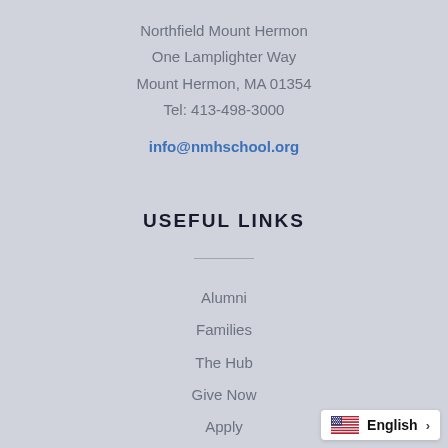Northfield Mount Hermon
One Lamplighter Way
Mount Hermon, MA 01354
Tel: 413-498-3000
info@nmhschool.org
USEFUL LINKS
Alumni
Families
The Hub
Give Now
Apply
Visit
[Figure (other): Language selector badge showing US flag and 'English' with a right chevron arrow]